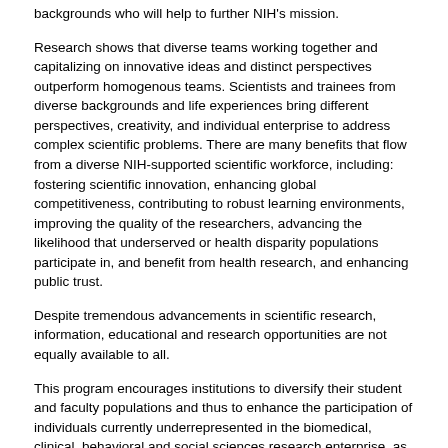backgrounds who will help to further NIH's mission.
Research shows that diverse teams working together and capitalizing on innovative ideas and distinct perspectives outperform homogenous teams. Scientists and trainees from diverse backgrounds and life experiences bring different perspectives, creativity, and individual enterprise to address complex scientific problems. There are many benefits that flow from a diverse NIH-supported scientific workforce, including: fostering scientific innovation, enhancing global competitiveness, contributing to robust learning environments, improving the quality of the researchers, advancing the likelihood that underserved or health disparity populations participate in, and benefit from health research, and enhancing public trust.
Despite tremendous advancements in scientific research, information, educational and research opportunities are not equally available to all.
This program encourages institutions to diversify their student and faculty populations and thus to enhance the participation of individuals currently underrepresented in the biomedical, clinical, behavioral and social sciences research enterprise, as described in NOT-OD-15-053.